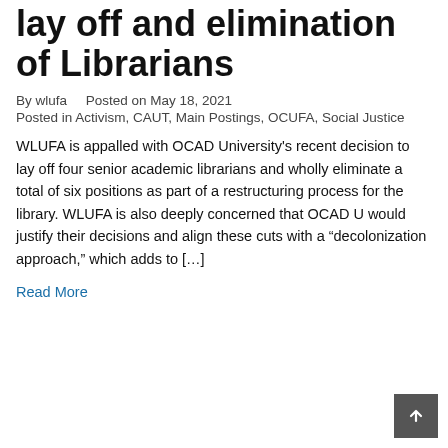lay off and elimination of Librarians
By wlufa   Posted on May 18, 2021
Posted in Activism, CAUT, Main Postings, OCUFA, Social Justice
WLUFA is appalled with OCAD University's recent decision to lay off four senior academic librarians and wholly eliminate a total of six positions as part of a restructuring process for the library. WLUFA is also deeply concerned that OCAD U would justify their decisions and align these cuts with a “decolonization approach,” which adds to […]
Read More